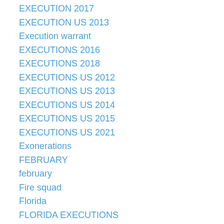EXECUTION 2017
EXECUTION US 2013
Execution warrant
EXECUTIONS 2016
EXECUTIONS 2018
EXECUTIONS US 2012
EXECUTIONS US 2013
EXECUTIONS US 2014
EXECUTIONS US 2015
EXECUTIONS US 2021
Exonerations
FEBRUARY
february
Fire squad
Florida
FLORIDA EXECUTIONS
Georgia
GEORGIA EXECUTIONS
Human rights
Idaho